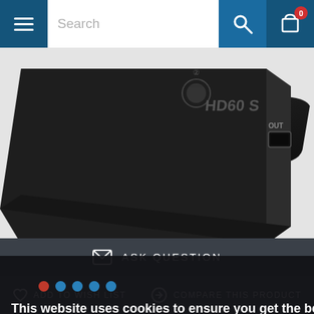Search
[Figure (photo): Elgato HD60 S capture card device, black, showing HDMI OUT port on the right side, angled top-down view]
Close
This website uses cookies to ensure you get the best experience on our website.
Privacy Policy
ASK QUESTION
ADD TO WISH LIST
COMPARE THIS PRODUCT